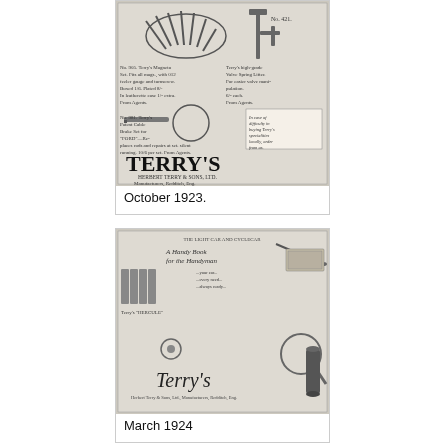[Figure (photo): Scanned vintage advertisement for Terry's automotive tools (Herbert Terry & Sons, Ltd., Manufacturers, Redditch, Eng.) showing No. 905 Magneto Set and No. 421 Valve Spring Lifter and No. 981 Patent Cable Brake Set for Ford. October 1923.]
October 1923.
[Figure (photo): Scanned vintage advertisement for Terry's tools featuring 'A Handy Book for the Handyman' showing Terry's Hercules and other tool products. March 1924.]
March 1924